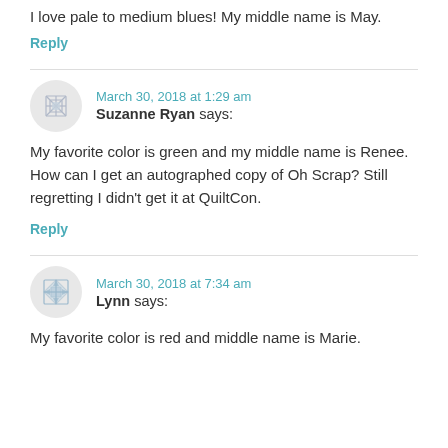I love pale to medium blues! My middle name is May.
Reply
March 30, 2018 at 1:29 am
Suzanne Ryan says:
My favorite color is green and my middle name is Renee. How can I get an autographed copy of Oh Scrap? Still regretting I didn’t get it at QuiltCon.
Reply
March 30, 2018 at 7:34 am
Lynn says:
My favorite color is red and middle name is Marie.